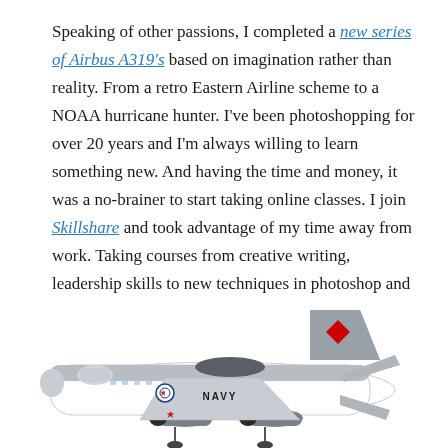Speaking of other passions, I completed a new series of Airbus A319's based on imagination rather than reality. From a retro Eastern Airline scheme to a NOAA hurricane hunter. I've been photoshopping for over 20 years and I'm always willing to learn something new. And having the time and money, it was a no-brainer to start taking online classes. I join Skillshare and took advantage of my time away from work. Taking courses from creative writing, leadership skills to new techniques in photoshop and illustrator. Your never too old to learn something new.
[Figure (illustration): Illustration of a white and gray military/NOAA-style aircraft (resembling a Navy jet) viewed from the side, with 'NAVY' text visible on the fuselage, a US military roundel, red diamond tail marking, and engine pods under the wings. The image is cropped at the bottom of the page.]